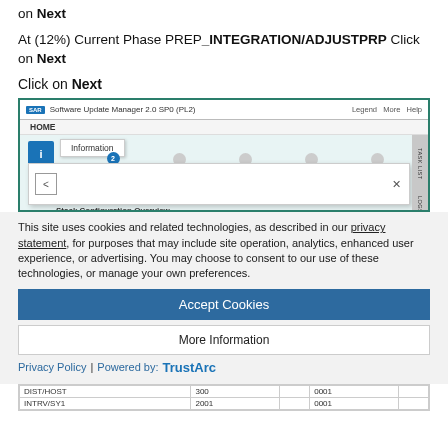on Next
At (12%) Current Phase PREP_INTEGRATION/ADJUSTPRP Click on Next
Click on Next
[Figure (screenshot): SAP Software Update Manager 2.0 SP0 (PL2) screenshot showing HOME navigation, Information popup, step wizard with Configuration step highlighted (step 2), and a modal dialog with back arrow and close button. Sidebar shows TASK LIST and LOGS labels.]
This site uses cookies and related technologies, as described in our privacy statement, for purposes that may include site operation, analytics, enhanced user experience, or advertising. You may choose to consent to our use of these technologies, or manage your own preferences.
Accept Cookies
More Information
Privacy Policy | Powered by: TrustArc
| DIST/HOST | 300 | 0001 |
| INTRV/SY1 | 2001 | 0001 |